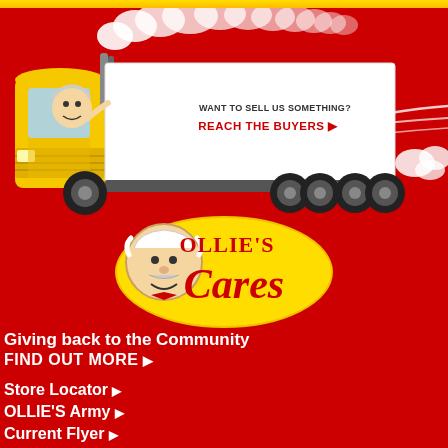[Figure (illustration): Cartoon yellow semi-truck speeding on red background with exhaust smoke clouds, old man cartoon character waving from driver window, white trailer box in the middle]
WANT TO SELL US SOMETHING?
REACH THE BUYERS ▶
[Figure (logo): Ollie's Cares logo - cartoon old man face with yellow outline, red script text 'Cares' with 'OLLIE'S' above in red serif font]
Giving back to the Community
FIND OUT MORE ▶
Store Locator ▶
OLLIE'S Army ▶
Current Flyer ▶